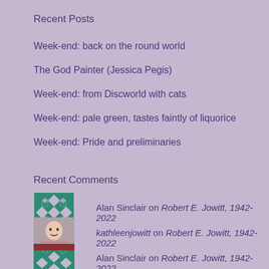Recent Posts
Week-end: back on the round world
The God Painter (Jessica Pegis)
Week-end: from Discworld with cats
Week-end: pale green, tastes faintly of liquorice
Week-end: Pride and preliminaries
Recent Comments
Alan Sinclair on Robert E. Jowitt, 1942-2022
kathleenjowitt on Robert E. Jowitt, 1942-2022
Alan Sinclair on Robert E. Jowitt, 1942-2022